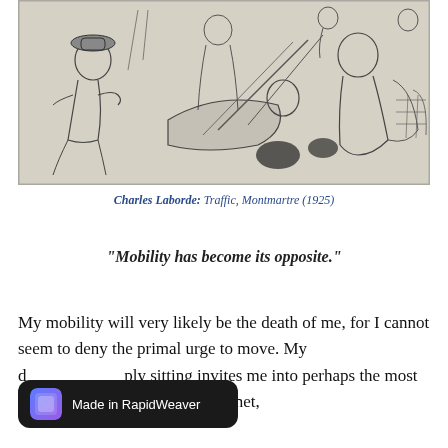[Figure (illustration): A line drawing/etching showing a busy street scene with multiple figures, vehicles, and urban activity in Montmartre style. Black ink on light gray paper.]
Charles Laborde: Traffic, Montmartre (1925)
"Mobility has become its opposite."
My mobility will very likely be the death of me, for I cannot seem to deny the primal urge to move. My d[esire for] simply sitting invites me into perhaps the most self destructive habit on this planet,